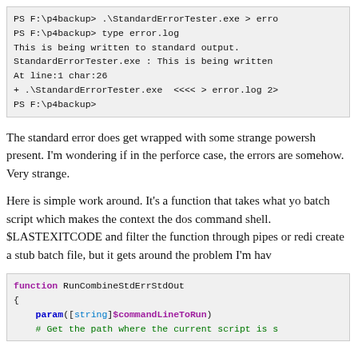[Figure (screenshot): PowerShell terminal output showing StandardErrorTester.exe commands and error output]
The standard error does get wrapped with some strange powershell present. I'm wondering if in the perforce case, the errors are get somehow. Very strange.
Here is simple work around. It's a function that takes what you batch script which makes the context the dos command shell. You $LASTEXITCODE and filter the function through pipes or redi create a stub batch file, but it gets around the problem I'm havin
[Figure (screenshot): PowerShell code block showing function RunCombineStdErrStdOut with param([string]$commandLineToRun) and a comment about getting the path where the current script is]